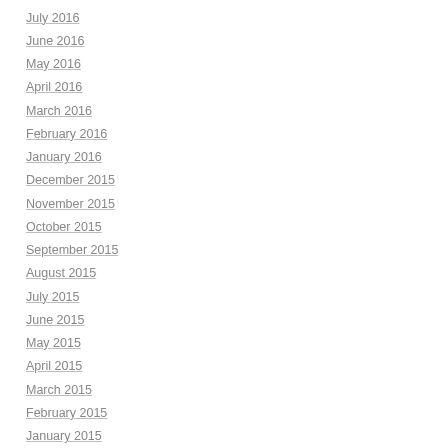July 2016
June 2016
May 2016
April 2016
March 2016
February 2016
January 2016
December 2015
November 2015
October 2015
September 2015
August 2015
July 2015
June 2015
May 2015
April 2015
March 2015
February 2015
January 2015